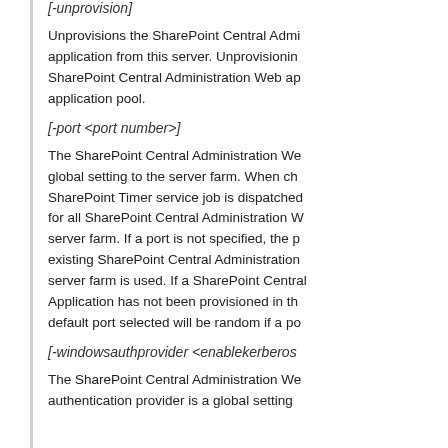[-unprovision]
Unprovisions the SharePoint Central Administration Web application from this server. Unprovisioning the SharePoint Central Administration Web application also deletes its application pool.
[-port <port number>]
The SharePoint Central Administration Web application port is a global setting to the server farm. When changed, a SharePoint Timer service job is dispatched to change the port for all SharePoint Central Administration Web applications in the server farm. If a port is not specified, the port number of an existing SharePoint Central Administration Web application in the server farm is used. If a SharePoint Central Administration Web Application has not been provisioned in the server farm, the default port selected will be random if a port is not specified.
[-windowsauthprovider <enablekerberos>]
The SharePoint Central Administration Web application Windows authentication provider is a global setting